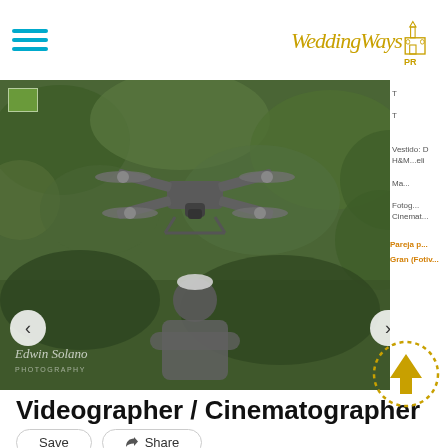[Figure (logo): WeddingWays PR logo with stylized script text and church/building icon in gold]
[Figure (photo): Photograph of a DJI Mavic drone in flight with a photographer standing in the background, set against lush green foliage. Watermark signature 'Edwin Solano Photography' in bottom-left corner.]
Vestido: D... H&M...eli... Ma... Fotog... Cinemat...
Pareja p...
Gran (Fotiv...
Videographer / Cinematographer
Save   Share